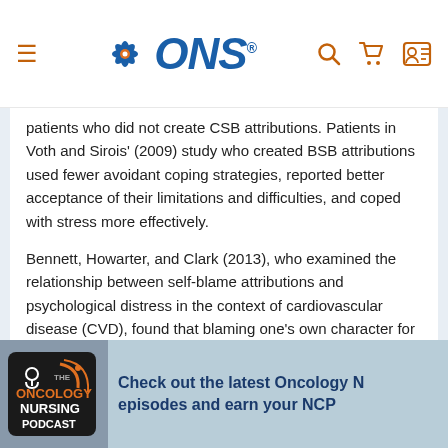ONS (Oncology Nursing Society) website header with navigation icons
patients who did not create CSB attributions. Patients in Voth and Sirois' (2009) study who created BSB attributions used fewer avoidant coping strategies, reported better acceptance of their limitations and difficulties, and coped with stress more effectively.
Bennett, Howarter, and Clark (2013), who examined the relationship between self-blame attributions and psychological distress in the context of cardiovascular disease (CVD), found that blaming one's own character for a recent cardiac event at the beginning of cardiac rehabilitation was unrelated to distress concurrently or at 12 weeks following the end of rehabilitation. However, BSB was positively related to symptoms of
[Figure (photo): Bottom banner showing The Oncology Nursing Podcast badge/logo on a phone with text 'Check out the latest Oncology N... episodes and earn your NCP...']